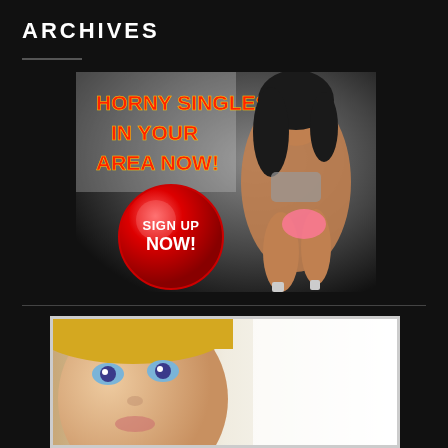ARCHIVES
[Figure (illustration): Advertisement banner reading 'HORNY SINGLES IN YOUR AREA NOW!' in red/yellow bold text with a large red button saying 'SIGN UP NOW!' and a woman posing in bikini and heels on a dark gradient background.]
[Figure (photo): Partial close-up photo of a blonde woman with blue eyes, cropped to show only the upper face area.]